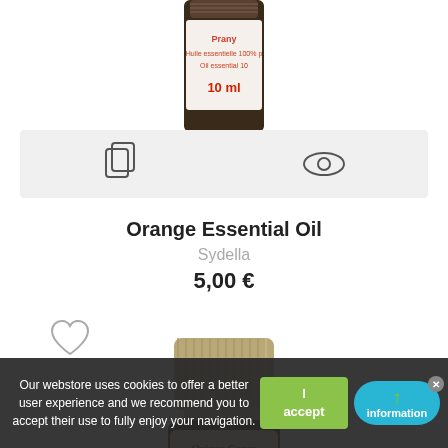[Figure (photo): Top portion of a dark glass bottle with white label showing text including '10 ml' and red text, partially cropped]
[Figure (screenshot): Action bar with copy icon and eye icon on light gray background]
Orange Essential Oil
Sydella
5,00 €
[Figure (illustration): Heart/wishlist icon outline]
[Figure (photo): Small beige/tan glass bottle of Origan Compacte essential oil with label text: origanum compactum, Huile essentielle, 100% pure et naturelle]
Our webstore uses cookies to offer a better user experience and we recommend you to accept their use to fully enjoy your navigation.
I accept
information